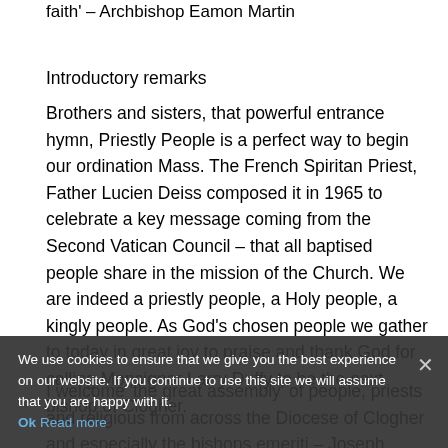faith' – Archbishop Eamon Martin
Introductory remarks
Brothers and sisters, that powerful entrance hymn, Priestly People is a perfect way to begin our ordination Mass. The French Spiritan Priest, Father Lucien Deiss composed it in 1965 to celebrate a key message coming from the Second Vatican Council – that all baptised people share in the mission of the Church. We are indeed a priestly people, a Holy people, a kingly people. As God's chosen people we gather to today in great joy to praise and thank God for calling Monsignor Larry Duffy to be the next bishop of Clogher.
I welcome 'the great assembly' of people, priests and religious from across the Diocese of Clogher and especially the bishops emeriti – Joseph Duffy and Liam MacDaid – and with them Monsignor, Joseph McGuinness who has faithfully
We use cookies to ensure that we give you the best experience on our website. If you continue to use this site we will assume that you are happy with it.